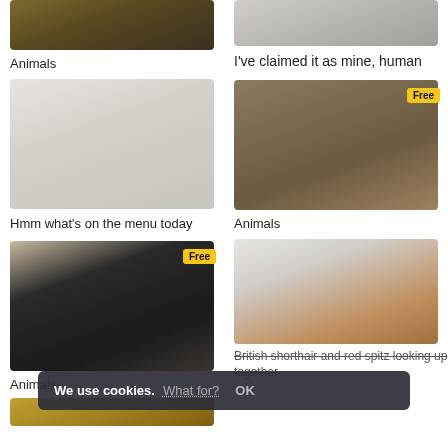[Figure (photo): Partial top image left column - dark golden/brown textured animal fur]
Animals
[Figure (photo): Small cat eating from a silver bowl, light background]
Hmm what's on the menu today
[Figure (photo): Black cat lying on its back looking up, with Free badge]
Animals
[Figure (photo): Partial bottom left image - golden/amber color]
[Figure (photo): Partial top right image - cat paw on white surface]
I've claimed it as mine, human
[Figure (photo): Tabby cat lying on floral rug looking at camera, with Free badge]
Animals
[Figure (photo): Two cats - British shorthair and red spitz looking up together]
British shorthair and red spitz looking up together
We use cookies. What for? OK